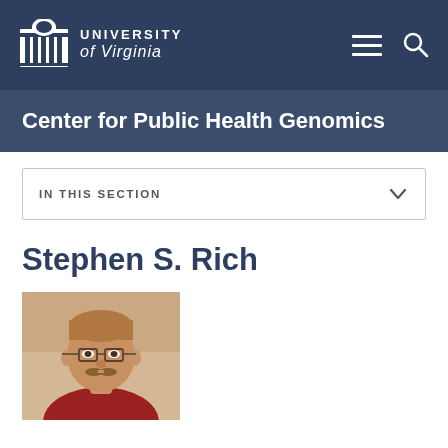[Figure (logo): University of Virginia logo with columned building icon and text 'University of Virginia' in white on dark navy background, with hamburger menu and search icons on the right]
Center for Public Health Genomics
IN THIS SECTION
Stephen S. Rich
[Figure (photo): Headshot photo of Stephen S. Rich, a middle-aged man with glasses, light brown hair, and a mustache, wearing a red shirt]